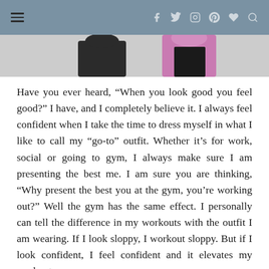≡  f  y  ○  ⊙  ♥  🔍
[Figure (photo): Partial view of two people in athletic/gym clothing, cropped at waist level showing a black garment and pink and black outfit]
Have you ever heard, “When you look good you feel good?” I have, and I completely believe it. I always feel confident when I take the time to dress myself in what I like to call my “go-to” outfit. Whether it’s for work, social or going to gym, I always make sure I am presenting the best me. I am sure you are thinking, “Why present the best you at the gym, you’re working out?” Well the gym has the same effect. I personally can tell the difference in my workouts with the outfit I am wearing. If I look sloppy, I workout sloppy. But if I look confident, I feel confident and it elevates my workouts.